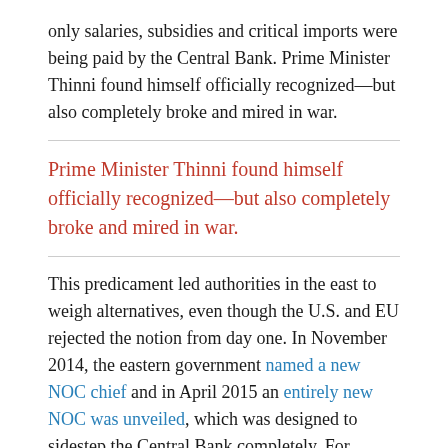only salaries, subsidies and critical imports were being paid by the Central Bank. Prime Minister Thinni found himself officially recognized—but also completely broke and mired in war.
Prime Minister Thinni found himself officially recognized—but also completely broke and mired in war.
This predicament led authorities in the east to weigh alternatives, even though the U.S. and EU rejected the notion from day one. In November 2014, the eastern government named a new NOC chief and in April 2015 an entirely new NOC was unveiled, which was designed to sidestep the Central Bank completely. For months, foreign diplomats urged Prime Minister Thinni not to go down this path